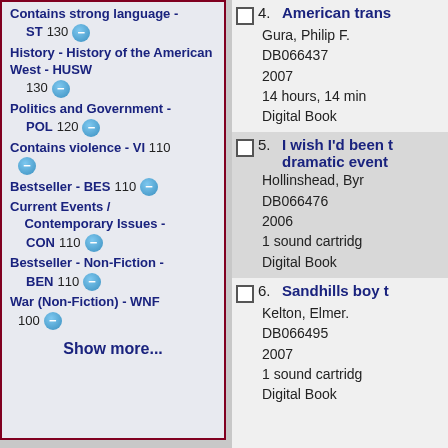Contains strong language - ST 130
History - History of the American West - HUSW 130
Politics and Government - POL 120
Contains violence - VI 110
Bestseller - BES 110
Current Events / Contemporary Issues - CON 110
Bestseller - Non-Fiction - BEN 110
War (Non-Fiction) - WNF 100
Show more...
4. American trans
Gura, Philip F.
DB066437
2007
14 hours, 14 min
Digital Book
5. I wish I'd been there dramatic event
Hollinshead, Byr
DB066476
2006
1 sound cartridg
Digital Book
6. Sandhills boy t
Kelton, Elmer.
DB066495
2007
1 sound cartridg
Digital Book